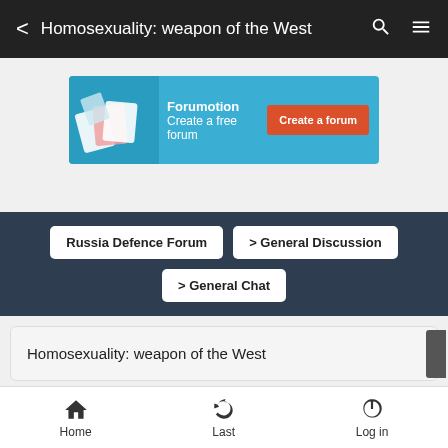Homosexuality: weapon of the West
[Figure (screenshot): Forumotion advertisement banner: Create a free forum]
Russia Defence Forum > General Discussion > General Chat
Homosexuality: weapon of the West
Home  Last  Log in